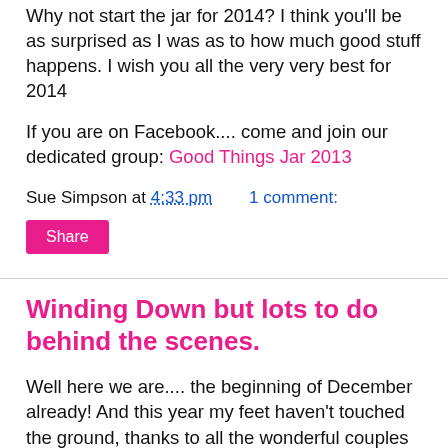Why not start the jar for 2014? I think you'll be as surprised as I was as to how much good stuff happens. I wish you all the very very best for 2014
If you are on Facebook.... come and join our dedicated group: Good Things Jar 2013
Sue Simpson at 4:33 pm    1 comment:
Share
Winding Down but lots to do behind the scenes.
Well here we are.... the beginning of December already! And this year my feet haven't touched the ground, thanks to all the wonderful couples that have passed through the doors of Inspired by Script and those who I haven't met personally, but have had a